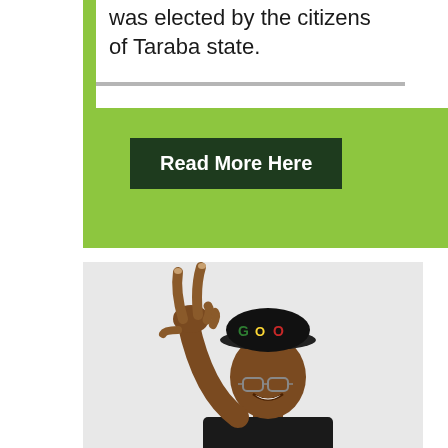was elected by the citizens of Taraba state.
Read More Here
[Figure (photo): A man making a peace/victory sign with his hand, wearing a black cap with 'GO' text in green, yellow, and red letters, smiling, on a light grey background.]